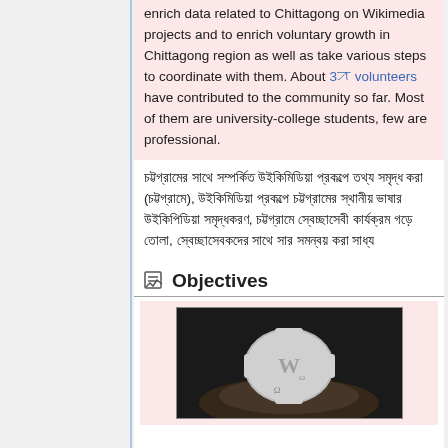enrich data related to Chittagong on Wikimedia projects and to enrich voluntary growth in Chittagong region as well as take various steps to coordinate with them. About 30 volunteers have contributed to the community so far. Most of them are university-college students, few are professional.
Bengali text paragraph about Wikimedia Chittagong community
Objectives
[Figure (photo): Hands holding a Wikipedia puzzle globe logo piece, shown in black and white]